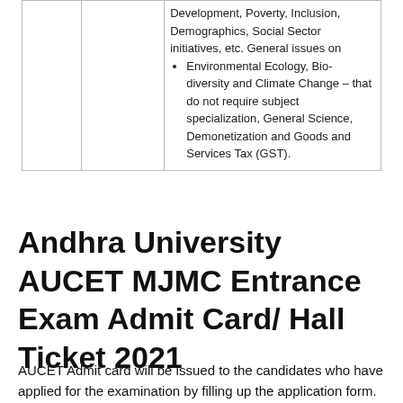|  |  | Development, Poverty, Inclusion, Demographics, Social Sector initiatives, etc. General issues on
• Environmental Ecology, Bio-diversity and Climate Change – that do not require subject specialization, General Science, Demonetization and Goods and Services Tax (GST). |
Andhra University AUCET MJMC Entrance Exam Admit Card/ Hall Ticket 2021
AUCET Admit card will be issued to the candidates who have applied for the examination by filling up the application form. Candidate can view and download the admit card for Andhra